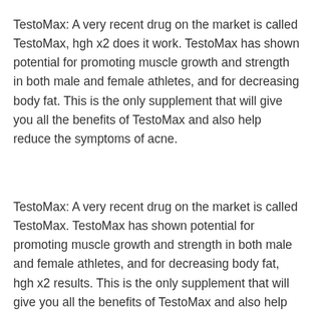TestoMax: A very recent drug on the market is called TestoMax, hgh x2 does it work. TestoMax has shown potential for promoting muscle growth and strength in both male and female athletes, and for decreasing body fat. This is the only supplement that will give you all the benefits of TestoMax and also help reduce the symptoms of acne.
TestoMax: A very recent drug on the market is called TestoMax. TestoMax has shown potential for promoting muscle growth and strength in both male and female athletes, and for decreasing body fat, hgh x2 results. This is the only supplement that will give you all the benefits of TestoMax and also help reduce the symptoms of acne. Trenbolone: This is an effective anti-estrogen and anti-androgen, hgh x2 where to buy. It can also reduce positive hormone symptoms such as